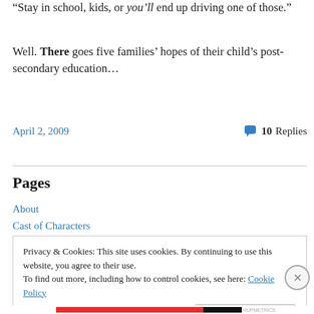“Stay in school, kids, or you’ll end up driving one of those.”
Well. There goes five families’ hopes of their child’s post-secondary education…
April 2, 2009   10 Replies
Pages
About
Cast of Characters
Privacy & Cookies: This site uses cookies. By continuing to use this website, you agree to their use.
To find out more, including how to control cookies, see here: Cookie Policy